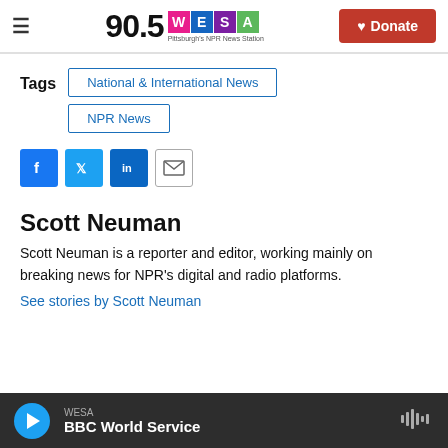90.5 WESA — Pittsburgh's NPR News Station | Donate
Tags
National & International News
NPR News
[Figure (other): Social sharing icons: Facebook, Twitter, LinkedIn, Email]
Scott Neuman
Scott Neuman is a reporter and editor, working mainly on breaking news for NPR's digital and radio platforms.
See stories by Scott Neuman
WESA — BBC World Service (player bar)